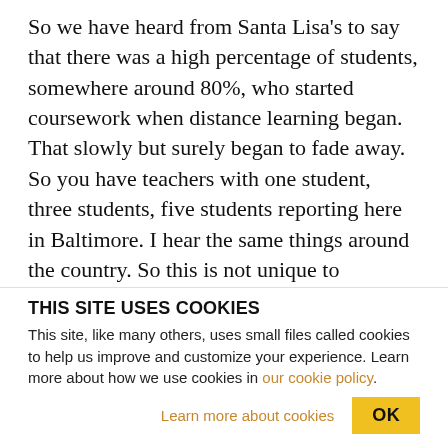So we have heard from Santa Lisa's to say that there was a high percentage of students, somewhere around 80%, who started coursework when distance learning began. That slowly but surely began to fade away. So you have teachers with one student, three students, five students reporting here in Baltimore. I hear the same things around the country. So this is not unique to Baltimore City, but it is a stressful situation. You do have teachers that I talked to who are extremely concerned again about abuse and students who they knew were in volatile living
THIS SITE USES COOKIES
This site, like many others, uses small files called cookies to help us improve and customize your experience. Learn more about how we use cookies in our cookie policy.
Learn more about cookies